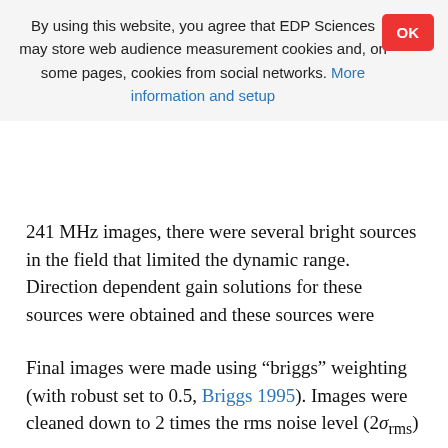By using this website, you agree that EDP Sciences may store web audience measurement cookies and, on some pages, cookies from social networks. More information and setup
241 MHz images, there were several bright sources in the field that limited the dynamic range. Direction dependent gain solutions for these sources were obtained and these sources were subtracted from the data. This method is commonly referred to as “peeling” (e.g., Noordam 2004).
Final images were made using “briggs” weighting (with robust set to 0.5, Briggs 1995). Images were cleaned down to 2 times the rms noise level (2σrms) within the clean boxes. The images were corrected for the primary beam response¹. The uncertainty in the calibration of the absolute flux-scale is between 5–10%, see Chandra et al. (2004).